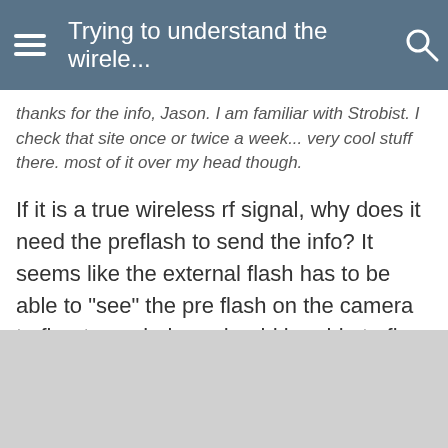Trying to understand the wirele...
thanks for the info, Jason. I am familiar with Strobist. I check that site once or twice a week... very cool stuff there. most of it over my head though.
If it is a true wireless rf signal, why does it need the preflash to send the info? It seems like the external flash has to be able to "see" the pre flash on the camera to fire. true wireless should be able to fire from another room right?
Reply